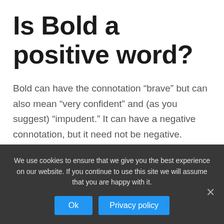Is Bold a positive word?
Bold can have the connotation “brave” but can also mean “very confident” and (as you suggest) “impudent.” It can have a negative connotation, but it need not be negative.
Is boldface the
We use cookies to ensure that we give you the best experience on our website. If you continue to use this site we will assume that you are happy with it.